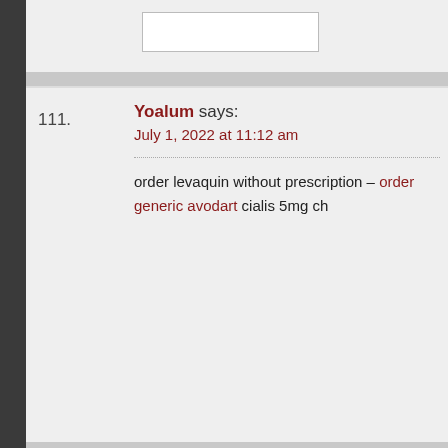111. Yoalum says: July 1, 2022 at 11:12 am | order levaquin without prescription – order generic avodart cialis 5mg ch
112. Williamannon says: July 2, 2022 at 1:04 am | штабелер электрический самоходный https://shtabeler-elektricheskiy-samokhodnyy.ru
113. propecia 1mg tablets says: July 2, 2022 at 2:37 pm